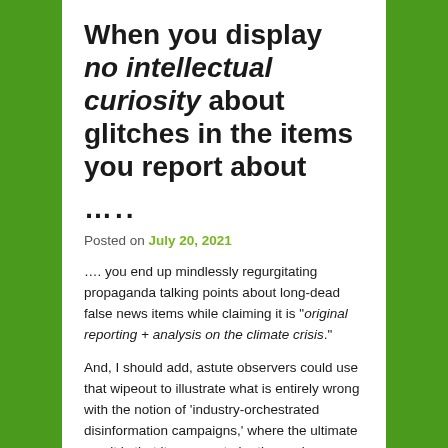When you display no intellectual curiosity about glitches in the items you report about
…..
Posted on July 20, 2021
…. you end up mindlessly regurgitating propaganda talking points about long-dead false news items while claiming it is "original reporting + analysis on the climate crisis."
And, I should add, astute observers could use that wipeout to illustrate what is entirely wrong with the notion of 'industry-orchestrated disinformation campaigns,' where the ultimate result is that it appears to be the enviro-activists who've been spoon-feeding disinformation on the global warming issue to gullible 'reporters' and others who also never questioned it for them to regurgitate at a later